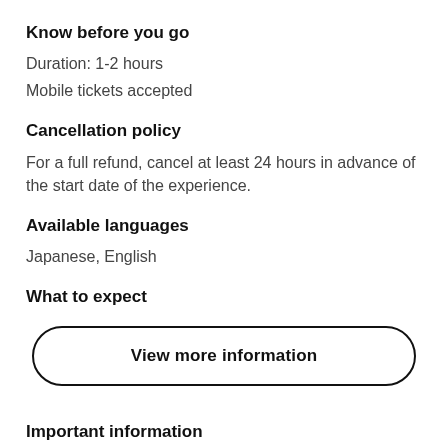Know before you go
Duration: 1-2 hours
Mobile tickets accepted
Cancellation policy
For a full refund, cancel at least 24 hours in advance of the start date of the experience.
Available languages
Japanese, English
What to expect
View more information
Important information